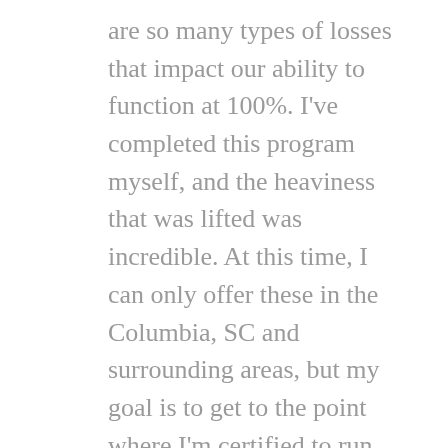are so many types of losses that impact our ability to function at 100%. I've completed this program myself, and the heaviness that was lifted was incredible. At this time, I can only offer these in the Columbia, SC and surrounding areas, but my goal is to get to the point where I'm certified to run these in weekend training sessions and online.
This is offered in both group programs and individual support.
*8-week Pilot training group is currently in progress. Stay tuned for more group programs to start in 2020